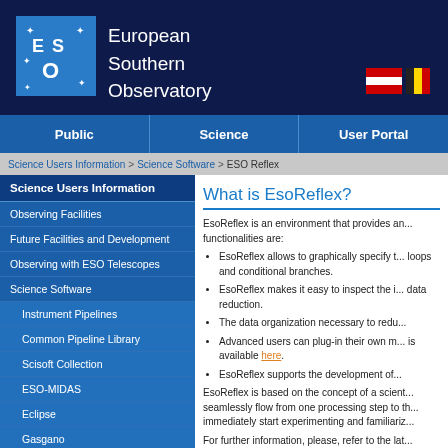[Figure (logo): ESO logo with star symbols on blue background]
European Southern Observatory
[Figure (illustration): Austrian and Belgian national flags]
Public | Science | User Portal
Science Users Information > Science Software > ESO Reflex
Science Users Information
Observing Facilities
Future Facilities and Development
Observing with ESO Telescopes
Science Software
Instrument Pipelines
Common Pipeline Library
Scisoft Collection
ESO-MIDAS
Eclipse
Gasgano
ESO Reflex
Data Handling and Products
Science Archive Facility
What is EsoReflex?
EsoReflex is an environment that provides an... functionalities are:
EsoReflex allows to graphically specify t... loops and conditional branches.
EsoReflex makes it easy to inspect the i... data reduction.
The data organization necessary to redu...
Advanced users can plug-in their own m... is available here.
EsoReflex supports the development of...
EsoReflex is based on the concept of a scient... seamlessly flow from one processing step to th... immediately start experimenting and familiariz...
For further information, please, refer to the lat...